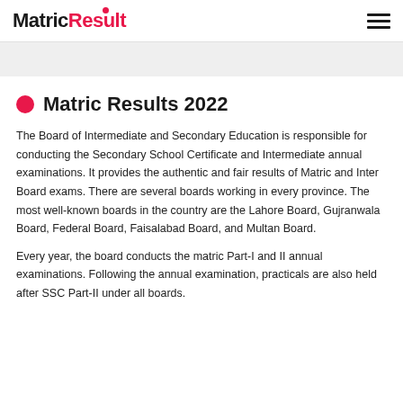MatricResult
Matric Results 2022
The Board of Intermediate and Secondary Education is responsible for conducting the Secondary School Certificate and Intermediate annual examinations. It provides the authentic and fair results of Matric and Inter Board exams. There are several boards working in every province. The most well-known boards in the country are the Lahore Board, Gujranwala Board, Federal Board, Faisalabad Board, and Multan Board.
Every year, the board conducts the matric Part-I and II annual examinations. Following the annual examination, practicals are also held after SSC Part-II under all boards.